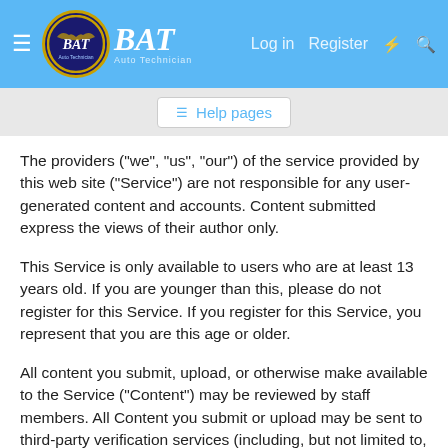BAT Auto Technician — Log in | Register | Help pages
The providers ("we", "us", "our") of the service provided by this web site ("Service") are not responsible for any user-generated content and accounts. Content submitted express the views of their author only.
This Service is only available to users who are at least 13 years old. If you are younger than this, please do not register for this Service. If you register for this Service, you represent that you are this age or older.
All content you submit, upload, or otherwise make available to the Service ("Content") may be reviewed by staff members. All Content you submit or upload may be sent to third-party verification services (including, but not limited to, spam prevention services). Do not submit any Content that you consider to be private or confidential.
You agree to not use the Service to submit or link to any